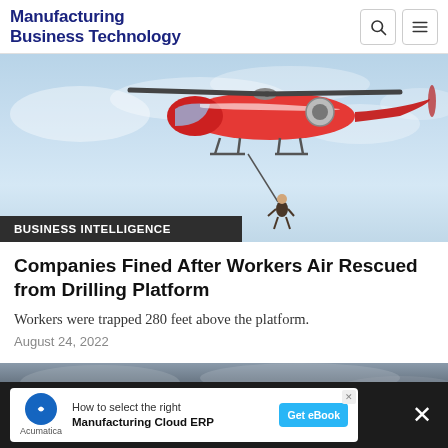Manufacturing Business Technology
[Figure (photo): Red Coast Guard helicopter in flight with a person suspended below on a cable, against a light blue cloudy sky]
BUSINESS INTELLIGENCE
Companies Fined After Workers Air Rescued from Drilling Platform
Workers were trapped 280 feet above the platform.
August 24, 2022
[Figure (photo): Partial view of a dark stormy sky scene, second article image]
How to select the right Manufacturing Cloud ERP — Get eBook (Acumatica advertisement)